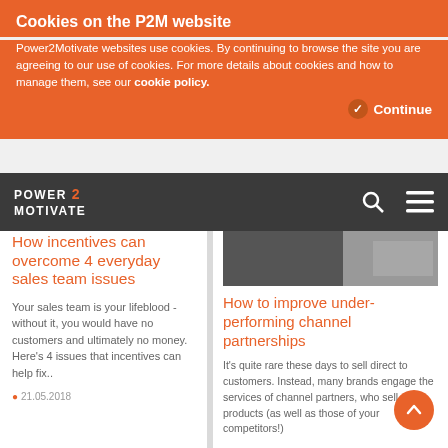Cookies on the P2M website
Power2Motivate websites use cookies. By continuing to browse the site you are agreeing to our use of cookies. For more details about cookies and how to manage them, see our cookie policy.
Continue
POWER 2 MOTIVATE
How incentives can overcome 4 everyday sales team issues
Your sales team is your lifeblood - without it, you would have no customers and ultimately no money. Here's 4 issues that incentives can help fix..
21.05.2018
[Figure (photo): Photo of people in business/workspace setting]
How to improve under-performing channel partnerships
It's quite rare these days to sell direct to customers. Instead, many brands engage the services of channel partners, who sell your products (as well as those of your competitors!)